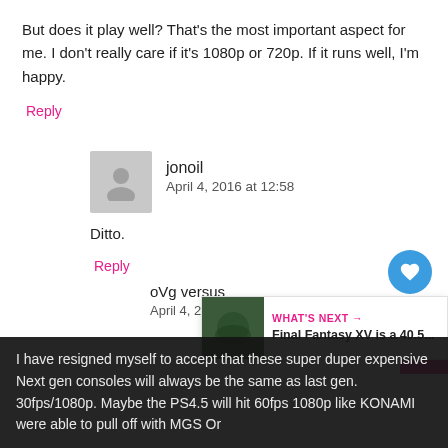But does it play well? That's the most important aspect for me. I don't really care if it's 1080p or 720p. If it runs well, I'm happy.
Reply
jonoil
April 4, 2016 at 12:58
Ditto.
Reply
oVg versus
April 4, 2016 at 13:22
I have resigned myself to accept that these super duper expensive Next gen consoles will always be the same as last gen. 30fps/1080p. Maybe the PS4.5 will hit 60fps 1080p like KONAMI were able to pull off with MGS Or